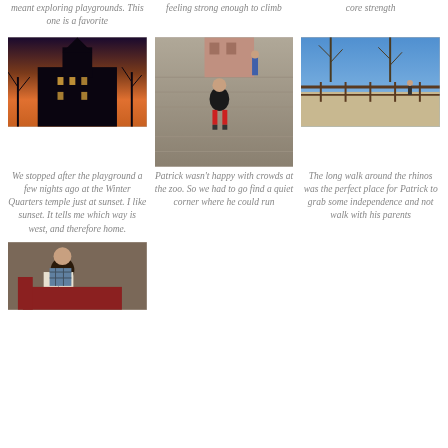meant exploring playgrounds. This one is a favorite
feeling strong enough to climb
core strength
[Figure (photo): Dark evening photo of a building with lights and bare trees silhouetted against a colorful sunset sky]
[Figure (photo): Child in black jacket and red pants walking on a wooden boardwalk, another person visible in background]
[Figure (photo): Outdoor path with wooden fence railing, bare trees and blue sky, person walking in distance]
We stopped after the playground a few nights ago at the Winter Quarters temple just at sunset. I like sunset. It tells me which way is west, and therefore home.
Patrick wasn't happy with crowds at the zoo. So we had to go find a quiet corner where he could run
The long walk around the rhinos was the perfect place for Patrick to grab some independence and not walk with his parents
[Figure (photo): Child sitting on a couch reading a book or magazine, wearing a plaid shirt]